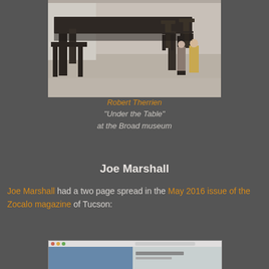[Figure (photo): Photo of Robert Therrien's 'Under the Table' installation at the Broad museum — oversized dark wooden table and chairs in a white gallery space with visitors in background]
Robert Therrien
"Under the Table"
at the Broad museum
Joe Marshall
Joe Marshall had a two page spread in the May 2016 issue of the Zocalo magazine of Tucson:
[Figure (screenshot): Screenshot of a magazine spread from Zocalo magazine, partially visible]